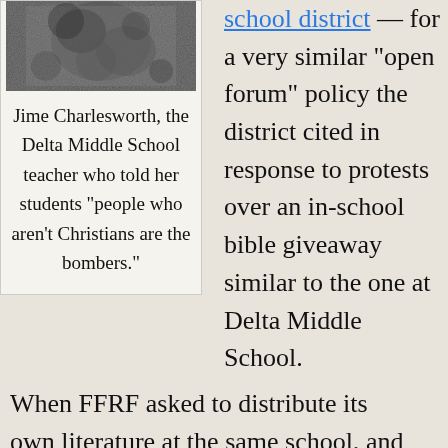[Figure (photo): Black and white photo of a person, appearing grainy/textured]
Jime Charlesworth, the Delta Middle School teacher who told her students “people who aren’t Christians are the bombers.”
a very similar “open forum” policy the district cited in response to protests over an in-school bible giveaway similar to the one at Delta Middle School.
When FFRF asked to distribute its own literature at the same school, and